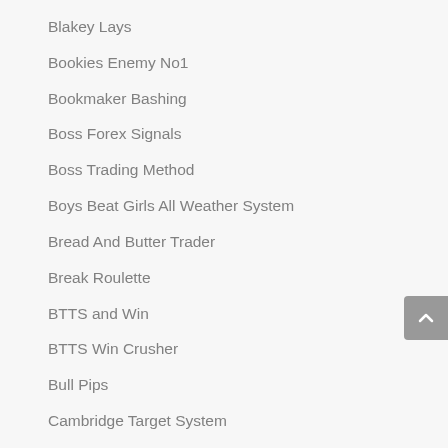Blakey Lays
Bookies Enemy No1
Bookmaker Bashing
Boss Forex Signals
Boss Trading Method
Boys Beat Girls All Weather System
Bread And Butter Trader
Break Roulette
BTTS and Win
BTTS Win Crusher
Bull Pips
Cambridge Target System
Capone 80
Carbine Golf